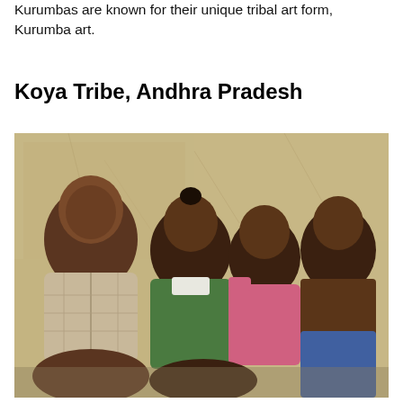Kurumbas are known for their unique tribal art form, Kurumba art.
Koya Tribe, Andhra Pradesh
[Figure (photo): A photograph of four men from the Koya tribe seated together against a weathered wall. The man on the left wears a plaid shirt, the second wears a green t-shirt, the third wears a pink shirt, and the fourth is shirtless.]